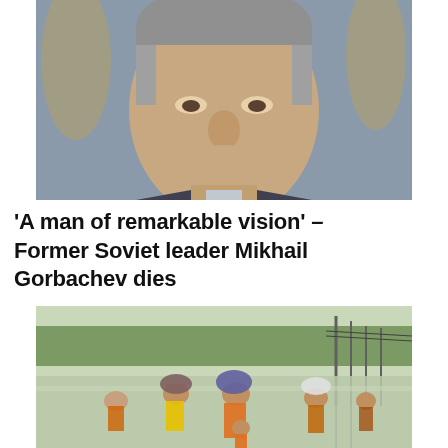[Figure (photo): Close-up portrait photo of Mikhail Gorbachev, a grey-haired older man smiling slightly, with a blurred decorative background.]
'A man of remarkable vision' – Former Soviet leader Mikhail Gorbachev dies
[Figure (photo): Flood scene showing people wading through deep floodwaters carrying belongings on their heads, with submerged landscape and utility poles in the background.]